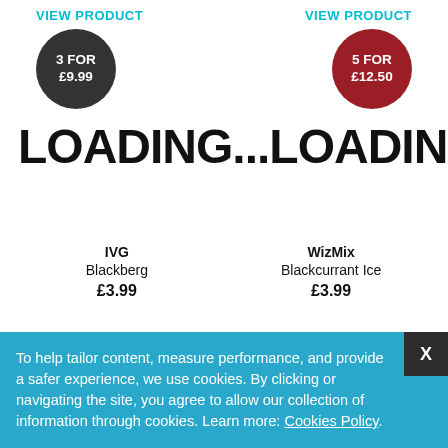VIEW PRODUCT  VIEW PRODUCT
[Figure (infographic): Two circular badge promotions: dark grey circle with '3 FOR £9.99' and dark red circle with '5 FOR £12.50']
LOADING...   LOADING...
IVG
Blackberg
£3.99
WizMix
Blackcurrant Ice
£3.99
To help tailor content, measure performance, and provide a safer experience, we use cookies. By clicking or navigating the site, you agree to allow our collection of information through cookies. Learn more: Cookies Policy.